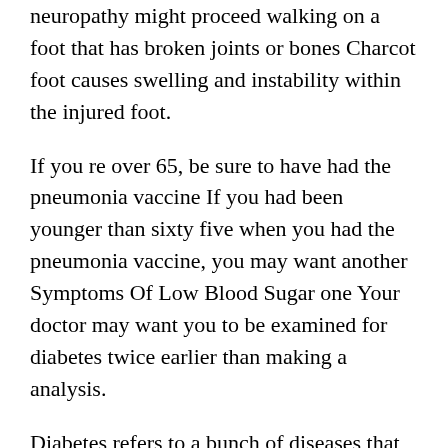neuropathy might proceed walking on a foot that has broken joints or bones Charcot foot causes swelling and instability within the injured foot.
If you re over 65, be sure to have had the pneumonia vaccine If you had been younger than sixty five when you had the pneumonia vaccine, you may want another Symptoms Of Low Blood Sugar one Your doctor may want you to be examined for diabetes twice earlier than making a analysis.
Diabetes refers to a bunch of diseases that can cause high levels of glucose in the blood DM varieties 1 and 2 are each handled with specialised diets, regular exercise, intensive foot and eye care, and drugs Testing can provide details about the effectiveness of the prescribed routine and whether or not any changes must be made The ADA also recommends one of the main is diabetes